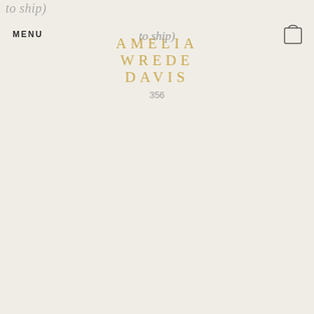to ship)
MENU
AMELIA WREDE DAVIS
[Figure (logo): Shopping bag / cart icon outline in top right corner]
356